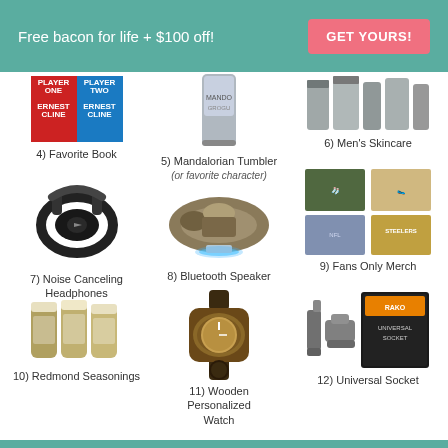Free bacon for life + $100 off!
GET YOURS!
[Figure (photo): Two book covers: Ready Player One and Ready Player Two by Ernest Cline]
4) Favorite Book
[Figure (photo): Mandalorian character tumbler cup]
5) Mandalorian Tumbler
(or favorite character)
[Figure (photo): Men's skincare product set]
6) Men's Skincare
[Figure (photo): Black noise canceling headphones]
7) Noise Canceling Headphones
[Figure (photo): Millennium Falcon Bluetooth speaker with blue LED glow]
8) Bluetooth Speaker
[Figure (photo): 2x2 grid of sports fan merchandise including socks, slippers, blanket, and Steelers bag]
9) Fans Only Merch
[Figure (photo): Three jars of Redmond seasonings]
10) Redmond Seasonings
[Figure (photo): Wooden personalized watch with wooden face and dark band]
11) Wooden Personalized Watch
[Figure (photo): Universal socket tool in black box with orange RAKO branding]
12) Universal Socket